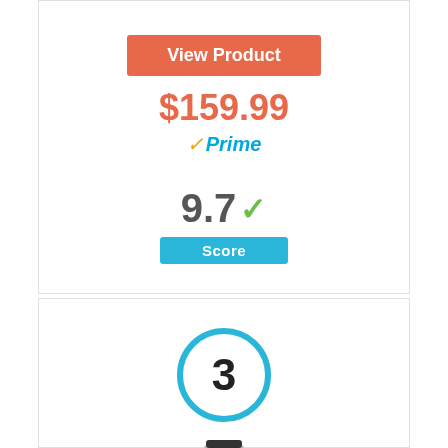View Product
$159.99
✓Prime
9.7 ✓
Score
[Figure (infographic): Rank badge showing number 3 inside a blue circle]
[Figure (photo): Product photo of a blender/kitchen appliance]